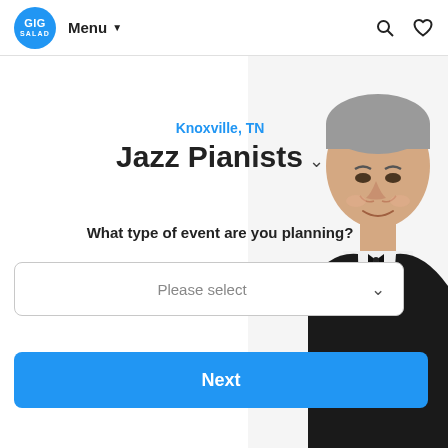GIG SALAD  Menu  [search icon] [heart icon]
[Figure (photo): Partial view of a smiling middle-aged man in a black tuxedo with bow tie, positioned on the right side of the page]
Knoxville, TN
Jazz Pianists
What type of event are you planning?
Please select
Next